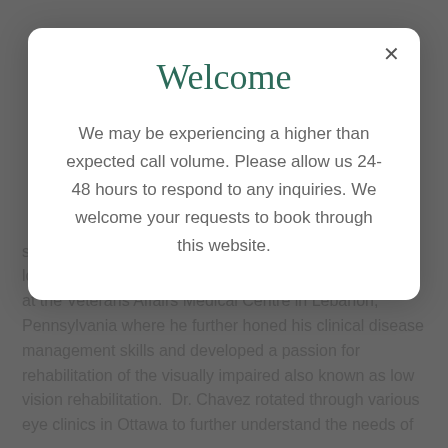...speciality clinics focusing in contact lenses, pediatrics, low vision, primary care and ocular disease. He interned at the Veterans Affairs Medical Centre in Lebanon, Pennsylvania where he further honed his clinical disease management skills and developed a passion for rehabilitation of the visually impaired also known as low vision rehabilitation. Dr. Chavez rotated through various eye clinics in Ottawa to further understand the needs of
Welcome
We may be experiencing a higher than expected call volume. Please allow us 24-48 hours to respond to any inquiries. We welcome your requests to book through this website.